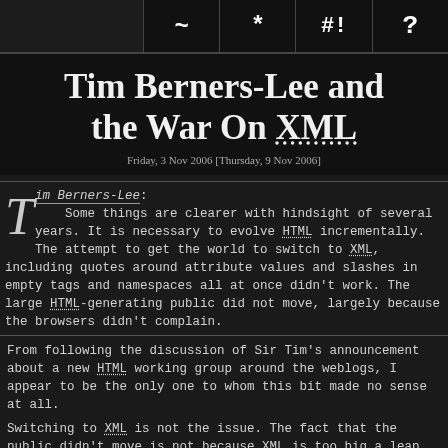~ * #! ?
Tim Berners-Lee and the War On XML
Friday, 3 Nov 2006 [Thursday, 9 Nov 2006]
Tim Berners-Lee: Some things are clearer with hindsight of several years. It is necessary to evolve HTML incrementally. The attempt to get the world to switch to XML, including quotes around attribute values and slashes in empty tags and namespaces all at once didn't work. The large HTML-generating public did not move, largely because the browsers didn't complain.
From following the discussion of Sir Tim's announcement about a new HTML working group around the weblogs, I appear to be the only one to whom this bit made no sense at all.
Switching to XML is not the issue. The fact that the public didn't move is not because XML is too big a leap. The